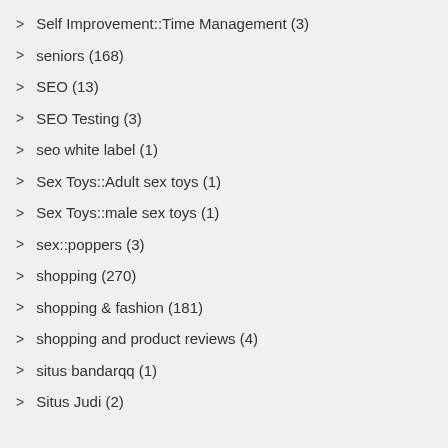Self Improvement::Time Management (3)
seniors (168)
SEO (13)
SEO Testing (3)
seo white label (1)
Sex Toys::Adult sex toys (1)
Sex Toys::male sex toys (1)
sex::poppers (3)
shopping (270)
shopping & fashion (181)
shopping and product reviews (4)
situs bandarqq (1)
Situs Judi (2)